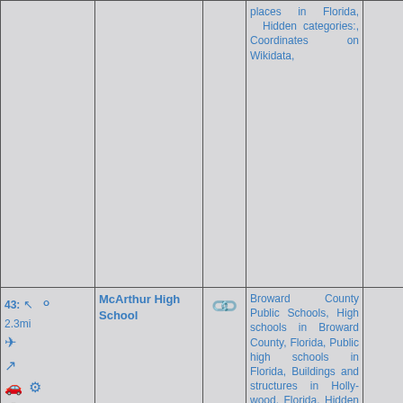| Nav/Distance | Name | Link | Categories | Extra |
| --- | --- | --- | --- | --- |
|  |  |  | places in Florida, Hidden categories:, Coordinates on Wikidata, |  |
| 43: 2.3mi [icons] | McArthur High School | [link icon] | Broward County Public Schools, High schools in Broward County, Florida, Public high schools in Florida, Buildings and structures in Hollywood, Florida, Hidden categ- |  |